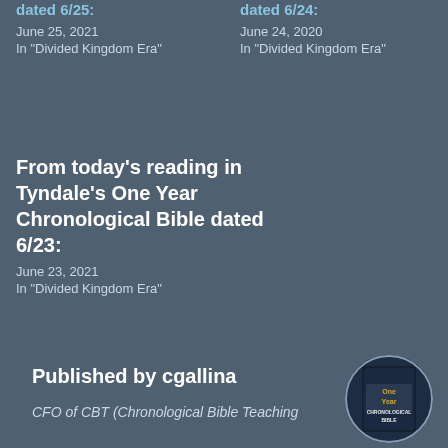dated 6/25:
June 25, 2021
In "Divided Kingdom Era"
dated 6/24:
June 24, 2020
In "Divided Kingdom Era"
From today's reading in Tyndale's One Year Chronological Bible dated 6/23:
June 23, 2021
In "Divided Kingdom Era"
Published by cgallina
CFO of CBT (Chronological Bible Teaching
[Figure (illustration): Circular avatar/logo for One Year Chronological Bible showing book cover with dark blue tones and gold text reading ONE YEAR CHRONOLOGICAL BIBLE]